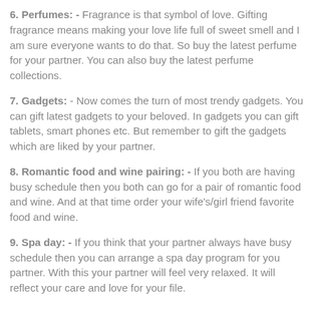6. Perfumes: - Fragrance is that symbol of love. Gifting fragrance means making your love life full of sweet smell and I am sure everyone wants to do that. So buy the latest perfume for your partner. You can also buy the latest perfume collections.
7. Gadgets: - Now comes the turn of most trendy gadgets. You can gift latest gadgets to your beloved. In gadgets you can gift tablets, smart phones etc. But remember to gift the gadgets which are liked by your partner.
8. Romantic food and wine pairing: - If you both are having busy schedule then you both can go for a pair of romantic food and wine. And at that time order your wife's/girl friend favorite food and wine.
9. Spa day: - If you think that your partner always have busy schedule then you can arrange a spa day program for you partner. With this your partner will feel very relaxed. It will reflect your care and love for your file.